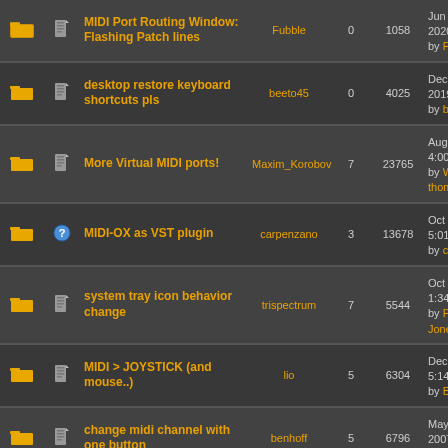|  |  | Topic | Author | Replies | Views | Last Post |
| --- | --- | --- | --- | --- | --- | --- |
| folder | doc | MIDI Port Routing Window: Flashing Patch lines | Fubble | 0 | 1058 | Jun 28th, 2020, 7:19pm by Fubble |
| folder | doc | desktop restore keyboard shortcuts pls | beeto45 | 0 | 4025 | Dec 27th, 2019, 3:00pm by beeto45 |
| folder | doc | More Virtual MIDI ports! | Maxim_Korobov | 7 | 23765 | Aug 6th, 2011, 4:00am by Willa thomas |
| folder | ? | MIDI-OX as VST plugin | carpenzano | 3 | 13678 | Oct 8th, 2006, 5:01am by carpenzano |
| folder | doc | system tray icon behavior change | trispectrum | 7 | 5544 | Oct 31st, 2003, 1:34pm by Peter L Jones |
| folder | doc | MIDI > JOYSTICK (and mouse..) | lio | 5 | 6304 | Dec 4th, 2013, 5:14pm by Breath |
| folder | doc | change midi channel with one button | benhoff | 5 | 6796 | May 26th, 2007, 4:59am by ... |